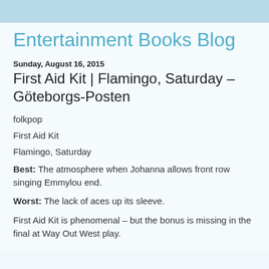Entertainment Books Blog
Sunday, August 16, 2015
First Aid Kit | Flamingo, Saturday – Göteborgs-Posten
folkpop
First Aid Kit
Flamingo, Saturday
Best: The atmosphere when Johanna allows front row singing Emmylou end.
Worst: The lack of aces up its sleeve.
First Aid Kit is phenomenal – but the bonus is missing in the final at Way Out West play.